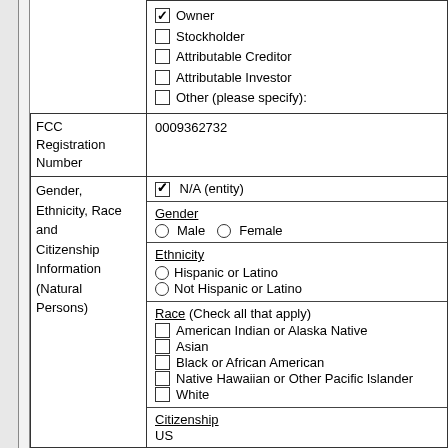|  | Owner
Stockholder
Attributable Creditor
Attributable Investor
Other (please specify): |
| FCC Registration Number | 0009362732 |
| Gender, Ethnicity, Race and Citizenship Information (Natural Persons) | N/A (entity)
Gender
Male / Female
Ethnicity
Hispanic or Latino
Not Hispanic or Latino
Race (Check all that apply)
American Indian or Alaska Native
Asian
Black or African American
Native Hawaiian or Other Pacific Islander
White
Citizenship
US |